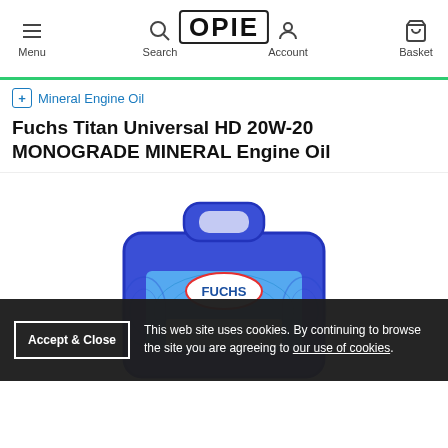Menu | Search | OPIE | Account | Basket
Mineral Engine Oil
Fuchs Titan Universal HD 20W-20 MONOGRADE MINERAL Engine Oil
[Figure (photo): Blue Fuchs oil jerry can / plastic container with Fuchs logo label on the front]
This web site uses cookies. By continuing to browse the site you are agreeing to our use of cookies.